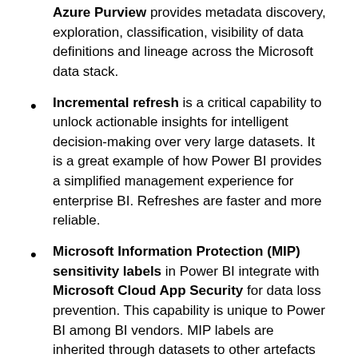Azure Purview provides metadata discovery, exploration, classification, visibility of data definitions and lineage across the Microsoft data stack.
Incremental refresh is a critical capability to unlock actionable insights for intelligent decision-making over very large datasets. It is a great example of how Power BI provides a simplified management experience for enterprise BI. Refreshes are faster and more reliable.
Microsoft Information Protection (MIP) sensitivity labels in Power BI integrate with Microsoft Cloud App Security for data loss prevention. This capability is unique to Power BI among BI vendors. MIP labels are inherited through datasets to other artefacts across the stack including apps, reports, dashboards, Excel PivotTables and export to Excel.
Bring your own key (BYOK) in Power BI Premium